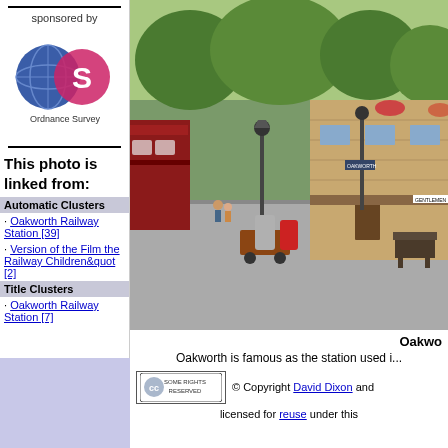sponsored by
[Figure (logo): Ordnance Survey logo — two overlapping circles (blue globe and pink/red S-shape) with 'Ordnance Survey' text below]
This photo is linked from:
Automatic Clusters
· Oakworth Railway Station [39]
· Version of the Film the Railway Children&quot; [2]
Title Clusters
· Oakworth Railway Station [7]
[Figure (photo): Photo of Oakworth Railway Station platform with vintage red train carriages on left, stone station building on right, gas lamp posts, hanging flower baskets, luggage trolleys with barrels/canisters, and trees in background]
Oakwo... Oakworth is famous as the station used i...
[Figure (logo): Creative Commons 'Some Rights Reserved' badge with CC logo]
© Copyright David Dixon and licensed for reuse under this